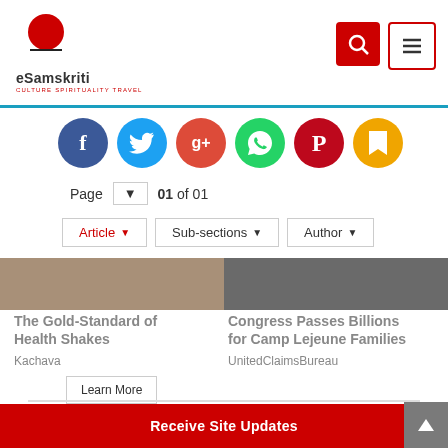eSamskriti — CULTURE SPIRITUALITY TRAVEL
[Figure (other): Social media share icons: Facebook, Twitter, Google+, WhatsApp, Pinterest, Bookmark]
Page 01 of 01
Article ▼   Sub-sections ▼   Author ▼
The Gold-Standard of Health Shakes
Kachava
Learn More
Congress Passes Billions for Camp Lejeune Families
UnitedClaimsBureau
Related Links
Receive Site Updates